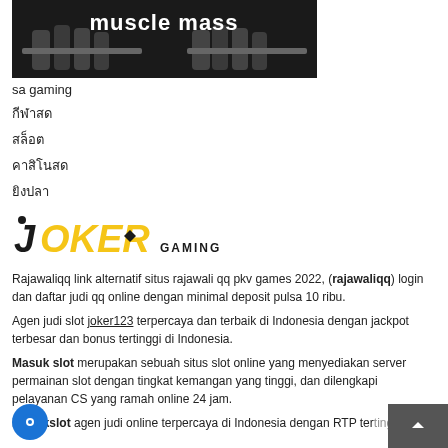[Figure (photo): Black and white photo of hands gripping gymnastic rings or bars, with bold white text overlay reading 'muscle mass']
sa gaming
กีฬาสด
สล็อต
คาสิโนสด
ยิงปลา
[Figure (logo): JOKER GAMING logo with stylized yellow and black lettering]
Rajawaliqq link alternatif situs rajawali qq pkv games 2022, (rajawaliqq) login dan daftar judi qq online dengan minimal deposit pulsa 10 ribu.
Agen judi slot joker123 terpercaya dan terbaik di Indonesia dengan jackpot terbesar dan bonus tertinggi di Indonesia.
Masuk slot merupakan sebuah situs slot online yang menyediakan server permainan slot dengan tingkat kemangan yang tinggi, dan dilengkapi pelayanan CS yang ramah online 24 jam.
Masukslot agen judi online terpercaya di Indonesia dengan RTP tertinggi.